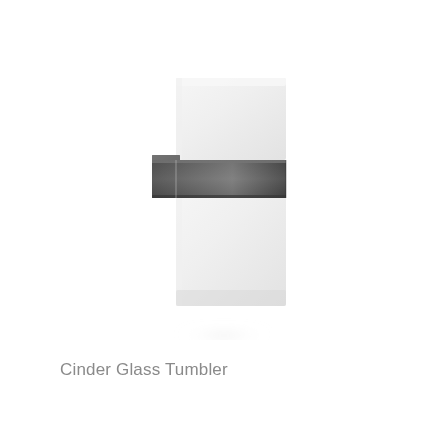[Figure (photo): A wall-mounted glass tumbler holder with a frosted/milky white square glass cup held by a dark gunmetal/charcoal rectangular metal bracket with a small square wall mount on the left side.]
Cinder Glass Tumbler